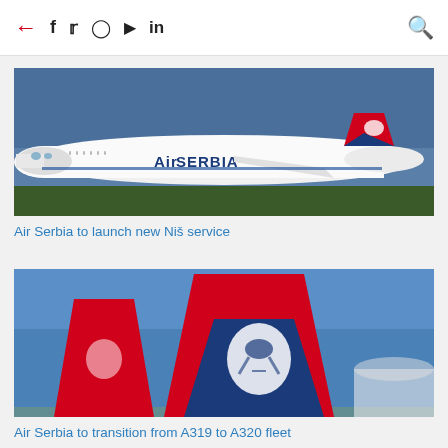← f  𝕏  📷  ▶  in  🔍
[Figure (photo): Air Serbia Airbus A319 aircraft in white and blue livery with red tail fin featuring the Serbian eagle logo, taxiing on a runway against a blue sky and tree line background. 'Air Serbia' lettering visible on the fuselage.]
Air Serbia to launch new Niš service
[Figure (photo): Close-up of Air Serbia aircraft tail fins against a blue sky. A large blue and red tail with white Serbian eagle emblem is prominent in the center, with a smaller red tail fin to the left.]
Air Serbia to transition from A319 to A320 fleet